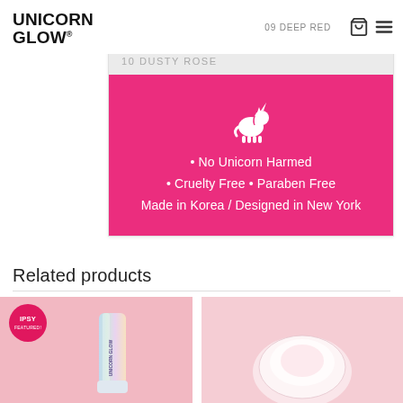UNICORN GLOW®
09 DEEP RED
[Figure (screenshot): Product card with shade selector rows: grey row '10 DUSTY ROSE', pink brand banner with unicorn icon and text 'No Unicorn Harmed • Cruelty Free • Paraben Free Made in Korea / Designed in New York']
Related products
[Figure (photo): Product thumbnail on pink background with IPSY FEATURED badge and holographic tube product]
[Figure (photo): Product thumbnail on light pink background showing circular product]